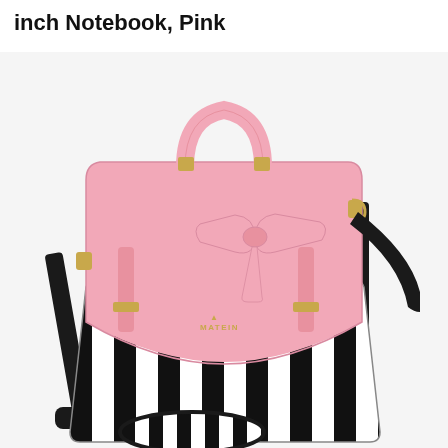inch Notebook, Pink
[Figure (photo): A pink and black-white striped satchel/laptop bag by Matein. The bag has a pink faux-leather flap with a decorative pink bow, gold-tone hardware buckles, a top carry handle, and a long black crossbody strap. The lower portion features bold black and white vertical stripes. A small oval pouch with matching stripes is shown at the bottom front.]